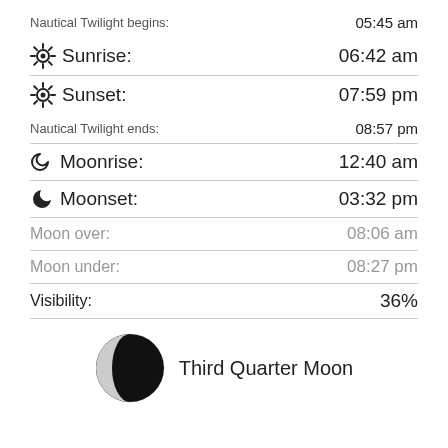Nautical Twilight begins: 05:45 am
Sunrise: 06:42 am
Sunset: 07:59 pm
Nautical Twilight ends: 08:57 pm
Moonrise: 12:40 am
Moonset: 03:32 pm
Moon over: 08:06 am
Moon under: 08:27 pm
Visibility: 36%
[Figure (illustration): Third Quarter Moon phase image — crescent moon, mostly dark, left portion lit]
Third Quarter Moon